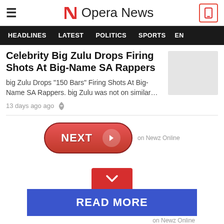Opera News
HEADLINES   LATEST   POLITICS   SPORTS   EN
Celebrity Big Zulu Drops Firing Shots At Big-Name SA Rappers
big Zulu Drops "150 Bars" Firing Shots At Big-Name SA Rappers. big Zulu was not on similar…
13 days ago ago
[Figure (other): NEXT button with arrow on Newz Online]
[Figure (other): READ MORE button with chevron on Newz Online]